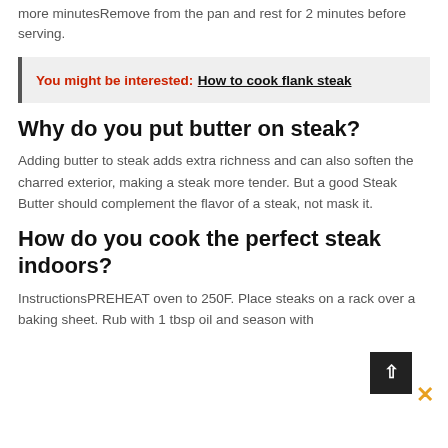more minutesRemove from the pan and rest for 2 minutes before serving.
You might be interested:  How to cook flank steak
Why do you put butter on steak?
Adding butter to steak adds extra richness and can also soften the charred exterior, making a steak more tender. But a good Steak Butter should complement the flavor of a steak, not mask it.
How do you cook the perfect steak indoors?
InstructionsPREHEAT oven to 250F. Place steaks on a rack over a baking sheet. Rub with 1 tbsp oil and season with